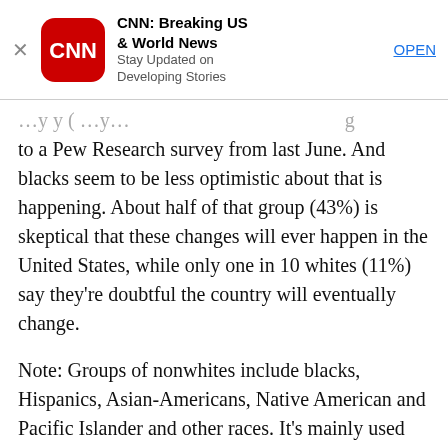[Figure (screenshot): CNN app advertisement banner with close button (×), CNN red rounded square logo, title 'CNN: Breaking US & World News', subtitle 'Stay Updated on Developing Stories', and 'OPEN' link button]
to a Pew Research survey from last June. And blacks seem to be less optimistic about that is happening. About half of that group (43%) is skeptical that these changes will ever happen in the United States, while only one in 10 whites (11%) say they're doubtful the country will eventually change.
Note: Groups of nonwhites include blacks, Hispanics, Asian-Americans, Native American and Pacific Islander and other races. It's mainly used when a sample size among an individual race isn't large enough.
Polls show Hispanics and other races also perceive more racism in the United States. President Trump